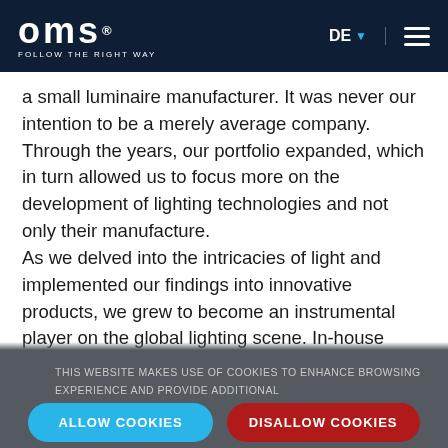OMS FOLLOW THE RIGHT WAY | DE | Menu
a small luminaire manufacturer. It was never our intention to be a merely average company. Through the years, our portfolio expanded, which in turn allowed us to focus more on the development of lighting technologies and not only their manufacture.
As we delved into the intricacies of light and implemented our findings into innovative products, we grew to become an instrumental player on the global lighting scene. In-house development advanced, and we came to realise that our R&D
THIS WEBSITE MAKES USE OF COOKIES TO ENHANCE BROWSING EXPERIENCE AND PROVIDE ADDITIONAL FUNCTIONALITY.   DETAILS
ALLOW COOKIES
DISALLOW COOKIES